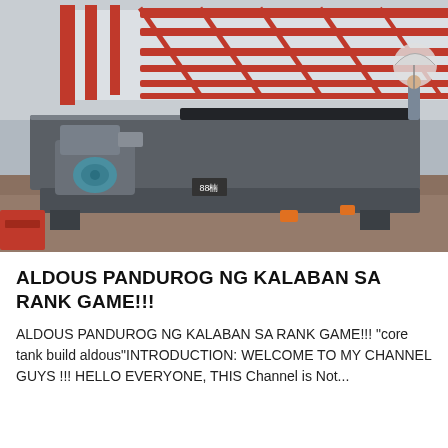[Figure (photo): Industrial machinery photo showing a large flat metal vibrating table or shaker machine with a blue electric motor on the left side, placed on the ground in an outdoor industrial yard. Red metal frame structures visible in the background. A person holding an umbrella stands in the far right background.]
ALDOUS PANDUROG NG KALABAN SA RANK GAME!!!
ALDOUS PANDUROG NG KALABAN SA RANK GAME!!! "core tank build aldous"INTRODUCTION: WELCOME TO MY CHANNEL GUYS !!! HELLO EVERYONE, THIS Channel is Not...